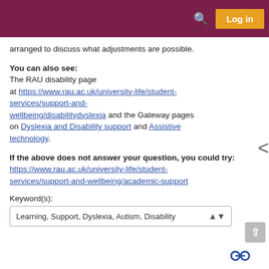Log in
arranged to discuss what adjustments are possible.
You can also see:
The RAU disability page at https://www.rau.ac.uk/university-life/student-services/support-and-wellbeing/disabilitydyslexia and the Gateway pages on Dyslexia and Disability support and Assistive technology.
If the above does not answer your question, you could try:
https://www.rau.ac.uk/university-life/student-services/support-and-wellbeing/academic-support
Keyword(s):
Learning, Support, Dyslexia, Autism, Disability